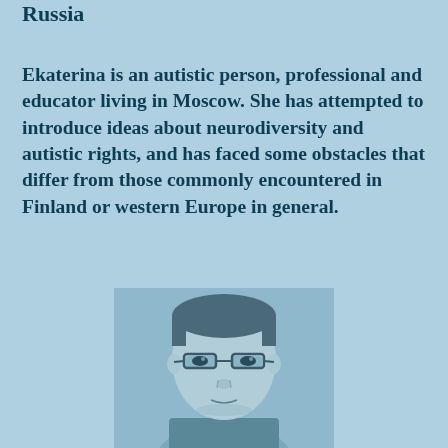Russia
Ekaterina is an autistic person, professional and educator living in Moscow. She has attempted to introduce ideas about neurodiversity and autistic rights, and has faced some obstacles that differ from those commonly encountered in Finland or western Europe in general.
[Figure (photo): Black-and-white tinted portrait photo of a young man with glasses, short hair, looking directly at the camera with a neutral expression.]